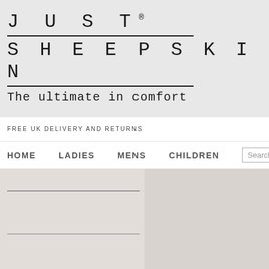[Figure (logo): Just Sheepskin brand logo with 'JUST' on first line, horizontal rule, 'SHEEPSKIN' on second line, horizontal rule, and tagline 'The ultimate in comfort' below, on grey background]
FREE UK DELIVERY AND RETURNS
HOME   LADIES   MENS   CHILDREN   Search for...